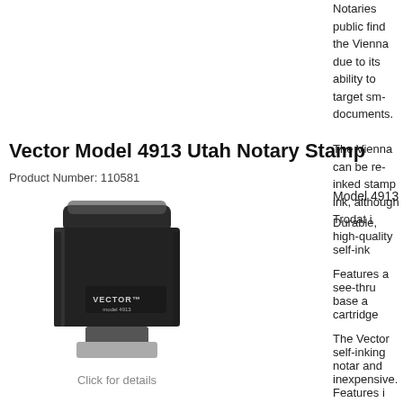Notaries public find the Vienna due to its ability to target small documents.
The Vienna can be re-inked stamp ink, although Trodat i
Vector Model 4913 Utah Notary Stamp
Product Number: 110581
[Figure (photo): Vector Model 4913 self-inking notary stamp, black body with clear top, VECTOR branding visible on side]
Click for details
Model 4913
Durable, high-quality self-inking
Features a see-thru base and cartridge
The Vector self-inking notary and inexpensive. Features i
A clear base so you you are stamping
A refillable ink cartridge thousands more imp
A replaceable ink ca change ink colors by
100% compatibility with stamps
Water-based ink, res through